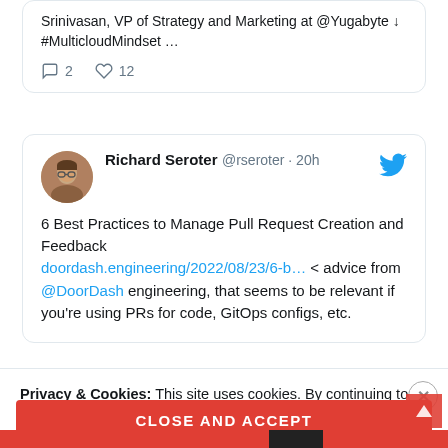Srinivasan, VP of Strategy and Marketing at @Yugabyte ↓ #MulticloudMindset …
2 replies, 12 likes
Richard Seroter @rseroter · 20h
6 Best Practices to Manage Pull Request Creation and Feedback doordash.engineering/2022/08/23/6-b… < advice from @DoorDash engineering, that seems to be relevant if you're using PRs for code, GitOps configs, etc.
Privacy & Cookies: This site uses cookies. By continuing to use this website, you agree to their use.
To find out more, including how to control cookies, see here: Cookie Policy
CLOSE AND ACCEPT